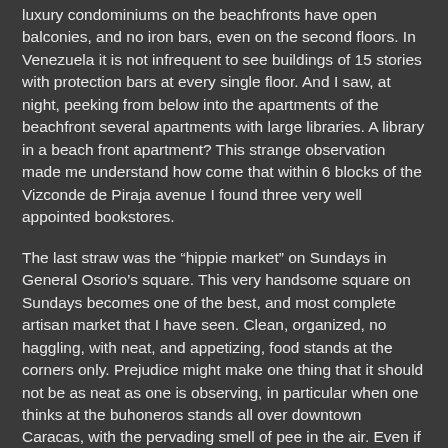luxury condominiums on the beachfronts have open balconies, and no iron bars, even on the second floors. In Venezuela it is not infrequent to see buildings of 15 stories with protection bars at every single floor. And I saw, at night, peeking from below into the apartments of the beachfront several apartments with large libraries. A library in a beach front apartment? This strange observation made me understand how come that within 6 blocks of the Vizconde de Piraja avenue I found three very well appointed bookstores.
The last straw was the “hippie market” on Sundays in General Osorio’s square. This very handsome square on Sundays becomes one of the best, and most complete artisan market that I have seen. Clean, organized, no haggling, with neat, and appetizing, food stands at the corners only. Prejudice might make one thing that it should not be as neat as one is observing, in particular when one thinks at the buhoneros stands all over downtown Caracas, with the pervading smell of pee in the air. Even if I were to pick the best buhoneros in Venezuela I do not think I would be able to put together something as nice as a single quarter of the “hippie market”.